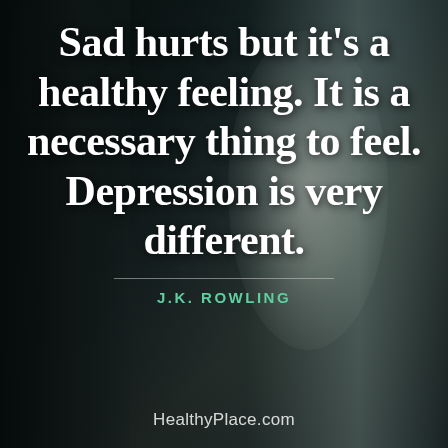[Figure (photo): Dark moody background photo of a person with long dark hair seen from behind, sitting near a window with soft light, creating a contemplative atmosphere. Dark teal/dark tones dominate.]
Sad hurts but it's a healthy feeling. It is a necessary thing to feel. Depression is very different.
J.K. ROWLING
HealthyPlace.com